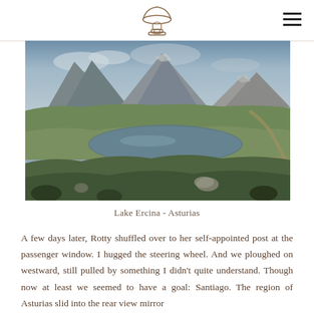[Logo: illustrated mushroom/lantern icon]
[Figure (photo): Aerial landscape photograph of Lake Ercina in Asturias, Spain, showing a mountain lake surrounded by rocky peaks, green hillsides, and a winding road]
Lake Ercina - Asturias
A few days later, Rotty shuffled over to her self-appointed post at the passenger window. I hugged the steering wheel. And we ploughed on westward, still pulled by something I didn't quite understand. Though now at least we seemed to have a goal: Santiago. The region of Asturias slid into the rear view mirror